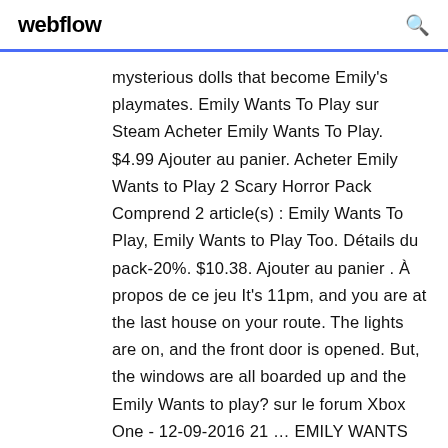webflow
mysterious dolls that become Emily's playmates. Emily Wants To Play sur Steam Acheter Emily Wants To Play. $4.99 Ajouter au panier. Acheter Emily Wants to Play 2 Scary Horror Pack Comprend 2 article(s) : Emily Wants To Play, Emily Wants to Play Too. Détails du pack-20%. $10.38. Ajouter au panier . À propos de ce jeu It's 11pm, and you are at the last house on your route. The lights are on, and the front door is opened. But, the windows are all boarded up and the Emily Wants to play? sur le forum Xbox One - 12-09-2016 21 … EMILY WANTS TO PLAY PC - PiviGames